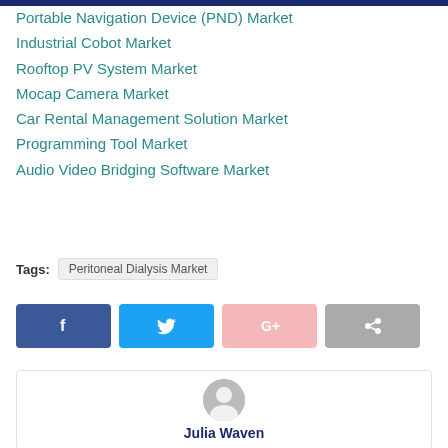Portable Navigation Device (PND) Market
Industrial Cobot Market
Rooftop PV System Market
Mocap Camera Market
Car Rental Management Solution Market
Programming Tool Market
Audio Video Bridging Software Market
Tags: Peritoneal Dialysis Market
[Figure (infographic): Social share buttons: Facebook (blue), Twitter (blue), Google+ (pink/light red), Share (grey)]
[Figure (illustration): Author avatar placeholder (grey circle with person silhouette) and author name Julia Waven below]